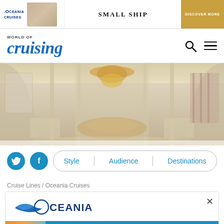[Figure (screenshot): Top advertisement banner for Oceania Cruises with 'SMALL SHIP' text and 'DISCOVER MORE' button]
World of Cruising – navigation bar with logo, search icon, and menu icon
[Figure (photo): Luxury cruise ship interior dining room with chandeliers, elegant decor, and plush seating]
[Figure (screenshot): Social media buttons (Twitter and Facebook) and filter pills for Style, Audience, Destinations]
Cruise Lines / Oceania Cruises
[Figure (screenshot): Oceania Cruises advertisement with logo and 'Unmissable cruise offers' blue button]